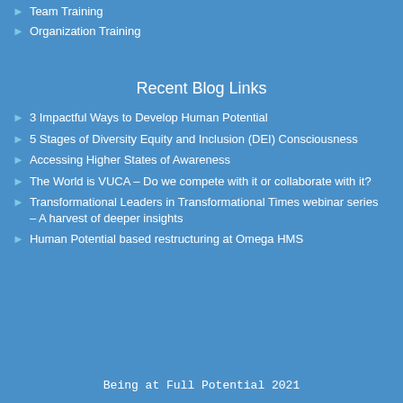Team Training
Organization Training
Recent Blog Links
3 Impactful Ways to Develop Human Potential
5 Stages of Diversity Equity and Inclusion (DEI) Consciousness
Accessing Higher States of Awareness
The World is VUCA – Do we compete with it or collaborate with it?
Transformational Leaders in Transformational Times webinar series – A harvest of deeper insights
Human Potential based restructuring at Omega HMS
Being at Full Potential 2021